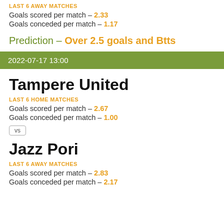LAST 6 AWAY MATCHES
Goals scored per match - 2.33
Goals conceded per match - 1.17
Prediction - Over 2.5 goals and Btts
2022-07-17 13:00
Tampere United
LAST 6 HOME MATCHES
Goals scored per match - 2.67
Goals conceded per match - 1.00
vs
Jazz Pori
LAST 6 AWAY MATCHES
Goals scored per match - 2.83
Goals conceded per match - 2.17